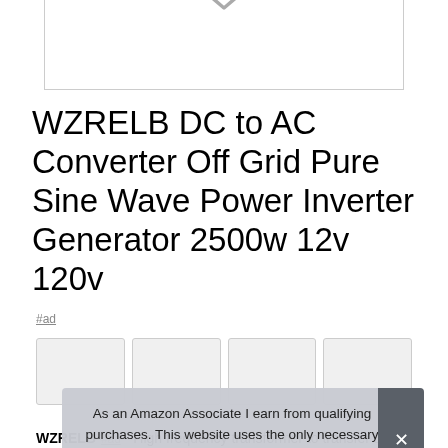[Figure (screenshot): Top portion of a product image box with a downward-pointing chevron/arrow at the top, partially cropped at top of page]
WZRELB DC to AC Converter Off Grid Pure Sine Wave Power Inverter Generator 2500w 12v 120v
#ad
[Figure (screenshot): Row of four product thumbnail images partially visible]
As an Amazon Associate I earn from qualifying purchases. This website uses the only necessary cookies to ensure you get the best experience on our website. More information
WZRELB #ad - High frequency transformer to transfer DC to